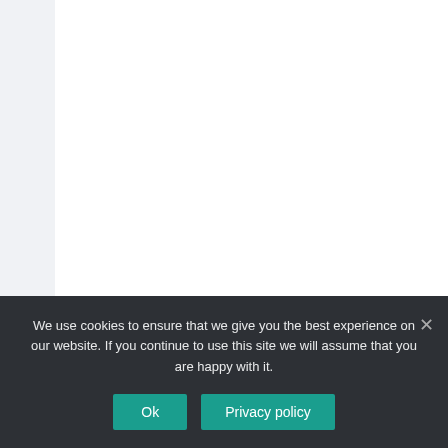BROWSERS
Easily Manage Browsing
We use cookies to ensure that we give you the best experience on our website. If you continue to use this site we will assume that you are happy with it.
Ok
Privacy policy